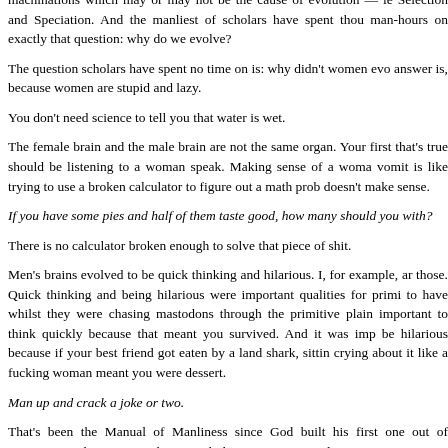machinations which may or may not be the cause of evolution — le Selection and Speciation. And the manliest of scholars have spent thou man-hours on exactly that question: why do we evolve?
The question scholars have spent no time on is: why didn't women evo answer is, because women are stupid and lazy.
You don't need science to tell you that water is wet.
The female brain and the male brain are not the same organ. Your first that's true should be listening to a woman speak. Making sense of a woma vomit is like trying to use a broken calculator to figure out a math prob doesn't make sense.
If you have some pies and half of them taste good, how many should you with?
There is no calculator broken enough to solve that piece of shit.
Men's brains evolved to be quick thinking and hilarious. I, for example, ar those. Quick thinking and being hilarious were important qualities for primi to have whilst they were chasing mastodons through the primitive plain important to think quickly because that meant you survived. And it was imp be hilarious because if your best friend got eaten by a land shark, sittin crying about it like a fucking woman meant you were dessert.
Man up and crack a joke or two.
That's been the Manual of Manliness since God built his first one out of awesome. And you just read a manual, that means you just lost 30 Man Poi
The she-brain is as different to the male brain as the she-liver or a broke And that's exactly why women are still dumb as monkeys. When you s thousand years sitting in a cave while work is getting done outside, you do